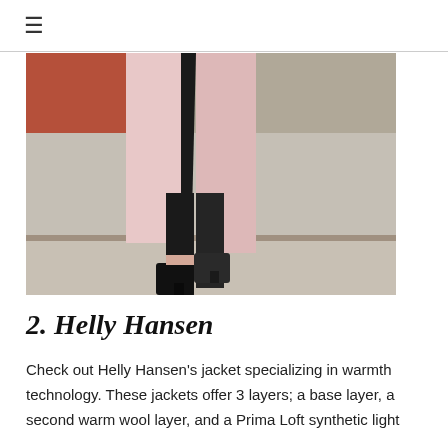≡
[Figure (photo): Lower body of a person wearing a light pink long coat open at the front, black skinny jeans, and black ankle boots, standing on concrete steps with a terracotta-colored background element.]
2. Helly Hansen
Check out Helly Hansen's jacket specializing in warmth technology. These jackets offer 3 layers; a base layer, a second warm wool layer, and a Prima Loft synthetic light